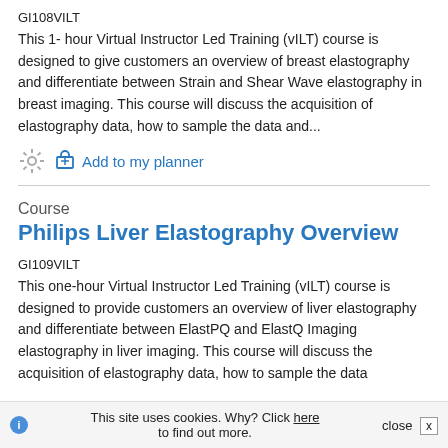GI108VILT
This 1- hour Virtual Instructor Led Training (vILT) course is designed to give customers an overview of breast elastography and differentiate between Strain and Shear Wave elastography in breast imaging. This course will discuss the acquisition of elastography data, how to sample the data and...
Add to my planner
Course
Philips Liver Elastography Overview
GI109VILT
This one-hour Virtual Instructor Led Training (vILT) course is designed to provide customers an overview of liver elastography and differentiate between ElastPQ and ElastQ Imaging elastography in liver imaging. This course will discuss the acquisition of elastography data, how to sample the data
This site uses cookies. Why? Click here to find out more.   close  x